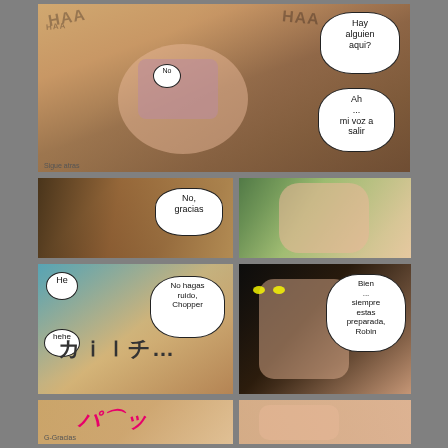[Figure (illustration): Manga comic page with multiple panels showing anime characters. Top panel: two characters in close confrontation with speech bubbles 'Hay alguien aqui?' and 'Ah... mi voz a salir' and sound effects 'HAA'. Middle section: four panels showing characters with speech bubbles 'No, gracias', 'No hagas ruido, Chopper', 'Bien... siempre estas preparada, Robin', and sound effects. Bottom panel: partially visible panel.]